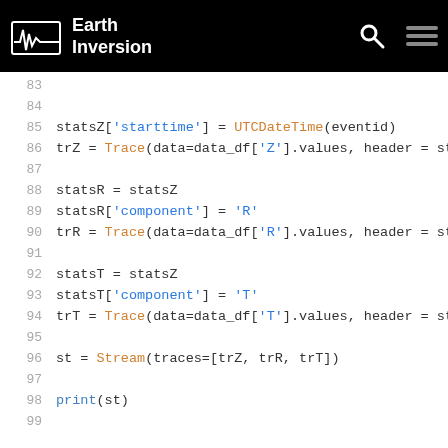Earth Inversion
83
84
85  statsZ['starttime'] = UTCDateTime(eventid)
86  trZ = Trace(data=data_df['Z'].values, header = stats
87
88  statsR = statsZ
89  statsR['component'] = 'R'
90  trR = Trace(data=data_df['R'].values, header = stats
91
92  statsT = statsZ
93  statsT['component'] = 'T'
94  trT = Trace(data=data_df['T'].values, header = stats
95
96  st = Stream(traces=[trZ, trR, trT])
97
98  print(st)
99